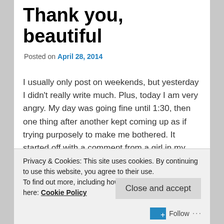Thank you, beautiful
Posted on April 28, 2014
I usually only post on weekends, but yesterday I didn't really write much. Plus, today I am very angry. My day was going fine until 1:30, then one thing after another kept coming up as if trying purposely to make me bothered. It started off with a comment from a girl in my class. She was reading the newspaper and then suddenly started laughing. She had found a headline called “Ku Klux Klan paid a black transvestite for sexual service”. Then everyone started laughing. I don’t understand why in the world the newspaper would think it is appropriate or even
Privacy & Cookies: This site uses cookies. By continuing to use this website, you agree to their use.
To find out more, including how to control cookies, see here: Cookie Policy